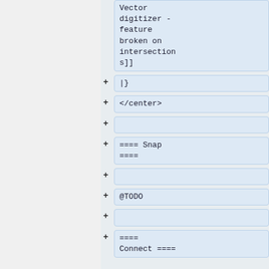Vector digitizer - feature broken on intersections]]
|}
</center>
==== Snap ====
@TODO
==== Connect ====